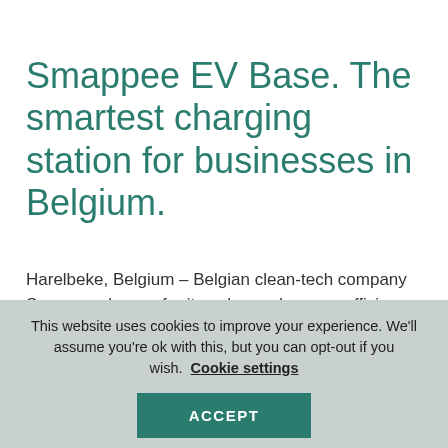[Figure (logo): Smappee logo partially visible at top of page]
Smappee EV Base. The smartest charging station for businesses in Belgium.
Harelbeke, Belgium – Belgian clean-tech company Smappee, known for its enhanced energy efficiency solutions, today launched its first charging station, the Smappee EV Base. Thanks to the integrated Smappee energy management technology, these stations offer smart EV charging, with built-in overload protection, optimised self-consumption, and real-time insight into charging costs. This
This website uses cookies to improve your experience. We'll assume you're ok with this, but you can opt-out if you wish. Cookie settings
ACCEPT